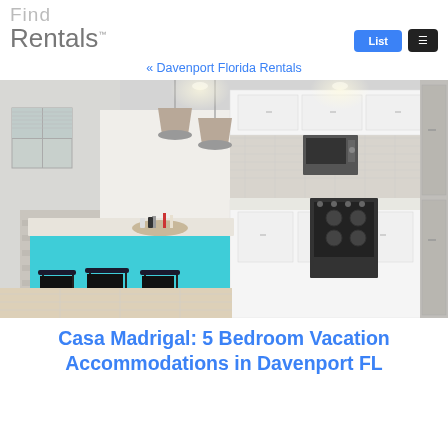Find Rentals
« Davenport Florida Rentals
[Figure (photo): Interior photo of a modern kitchen with white cabinets, stainless steel appliances, a large kitchen island with teal/turquoise base and light countertop, black bar stools, pendant lights, and light wood flooring. Open floor plan visible.]
Casa Madrigal: 5 Bedroom Vacation Accommodations in Davenport FL